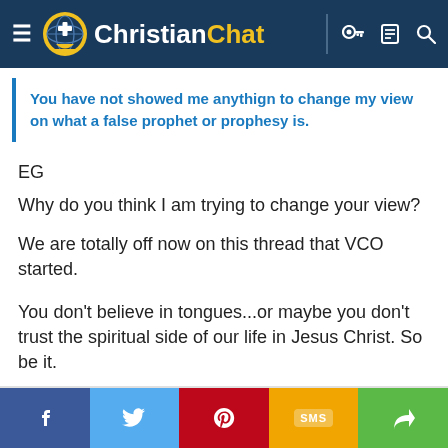Christian Chat
You have not showed me anythign to change my view on what a false prophet or prophesy is.
EG
Why do you think I am trying to change your view?
We are totally off now on this thread that VCO started.
You don't believe in tongues...or maybe you don't trust the spiritual side of our life in Jesus Christ. So be it.
f  [twitter]  [pinterest]  SMS  [share]